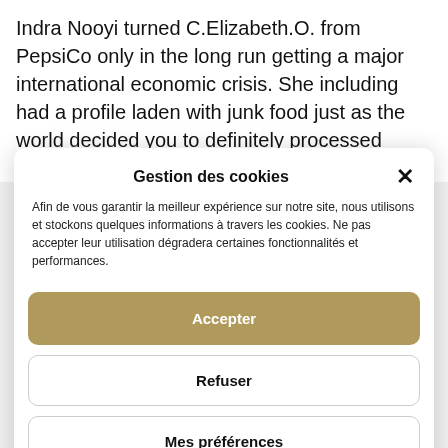Indra Nooyi turned C.Elizabeth.O. from PepsiCo only in the long run getting a major international economic crisis. She including had a profile laden with junk food just as the world decided you to definitely processed foods is borderline
Gestion des cookies
Afin de vous garantir la meilleur expérience sur notre site, nous utilisons et stockons quelques informations à travers les cookies. Ne pas accepter leur utilisation dégradera certaines fonctionnalités et performances.
Accepter
Refuser
Mes préférences
Politique de cookies   Politique de cookies